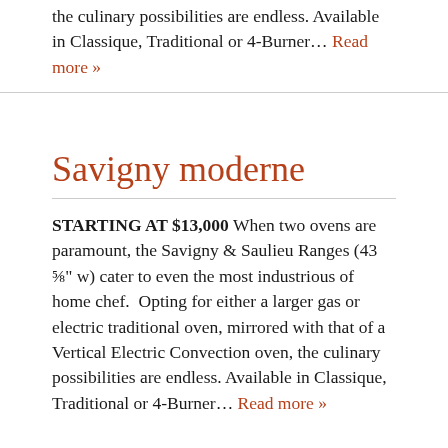the culinary possibilities are endless. Available in Classique, Traditional or 4-Burner… Read more »
Savigny moderne
STARTING AT $13,000 When two ovens are paramount, the Savigny & Saulieu Ranges (43 ⅝" w) cater to even the most industrious of home chef.  Opting for either a larger gas or electric traditional oven, mirrored with that of a Vertical Electric Convection oven, the culinary possibilities are endless. Available in Classique, Traditional or 4-Burner… Read more »